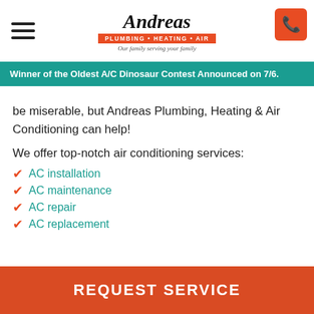[Figure (logo): Andreas Plumbing Heating Air logo with house icon, red badge, and italic tagline]
Winner of the Oldest A/C Dinosaur Contest Announced on 7/6.
be miserable, but Andreas Plumbing, Heating & Air Conditioning can help!
We offer top-notch air conditioning services:
AC installation
AC maintenance
AC repair
AC replacement
REQUEST SERVICE